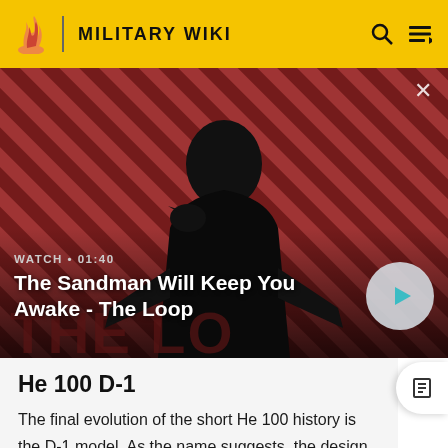MILITARY WIKI
[Figure (screenshot): Video thumbnail showing a dark-cloaked figure with a raven on shoulder against a red diagonal striped background, with 'THE LOOP' text visible. Video overlay shows 'WATCH • 01:40' and title 'The Sandman Will Keep You Awake - The Loop' with a play button.]
He 100 D-1
The final evolution of the short He 100 history is the D-1 model. As the name suggests, the design was supposed to be very similar to the pre-production D-0s, the main